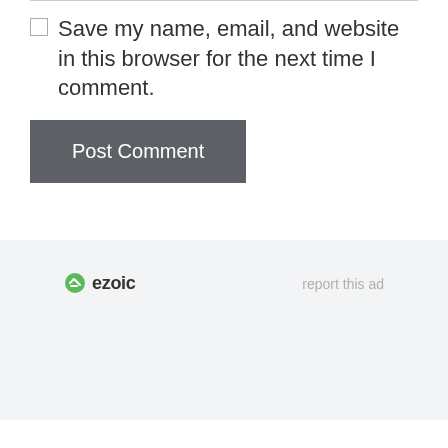Save my name, email, and website in this browser for the next time I comment.
Post Comment
[Figure (logo): Ezoic logo with green circular icon and bold 'ezoic' text]
report this ad